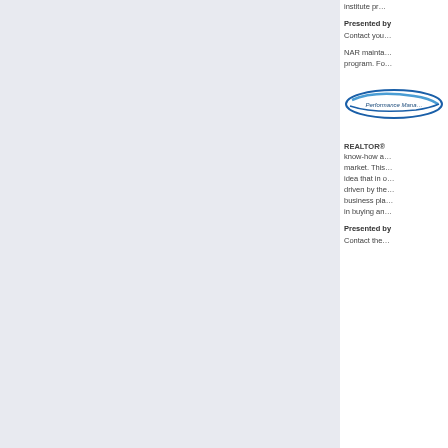institute pr…
Presented by
Contact you…
NAR mainta… program. Fo…
[Figure (logo): Performance Management logo — oval blue swoosh shape with text 'Performance Mana...' inside]
REALTOR® know-how a… market. This… idea that in o… driven by the… business pla… in buying an…
Presented by
Contact the…